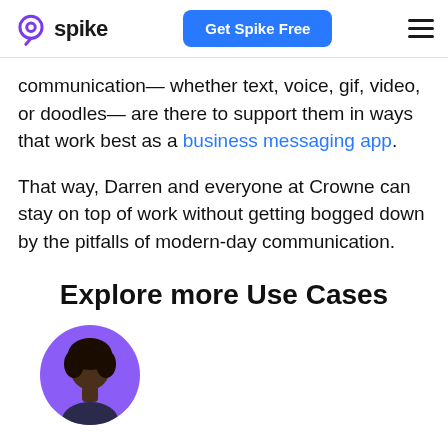spike — Get Spike Free (navigation header)
communication— whether text, voice, gif, video, or doodles— are there to support them in ways that work best as a business messaging app.
That way, Darren and everyone at Crowne can stay on top of work without getting bogged down by the pitfalls of modern-day communication.
Explore more Use Cases
[Figure (photo): Circular avatar image with purple background showing a person with dark curly hair, partially cropped at bottom of page]